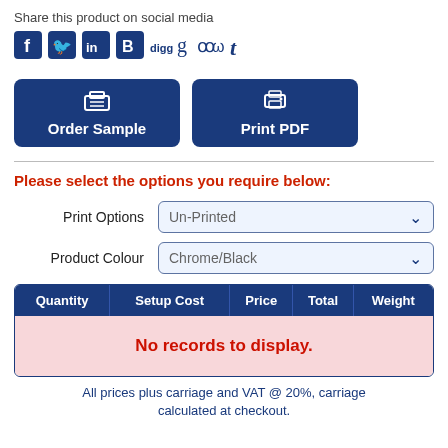Share this product on social media
[Figure (infographic): Row of social media icons: Facebook, Twitter, LinkedIn, Blogger, Digg, Google+, Reddit, StumbleUpon, Tumblr]
[Figure (infographic): Two blue buttons: 'Order Sample' with basket icon and 'Print PDF' with printer icon]
Please select the options you require below:
Print Options: Un-Printed (dropdown)
Product Colour: Chrome/Black (dropdown)
| Quantity | Setup Cost | Price | Total | Weight |
| --- | --- | --- | --- | --- |
| No records to display. |
All prices plus carriage and VAT @ 20%, carriage calculated at checkout.